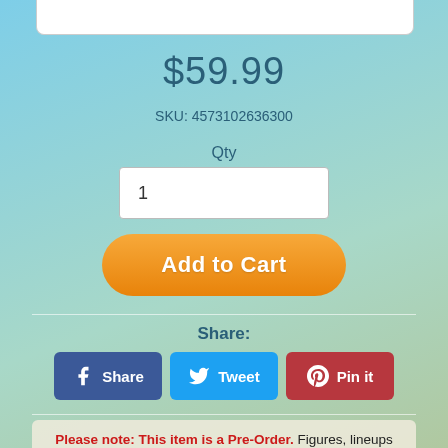$59.99
SKU: 4573102636300
Qty
1
Add to Cart
Share:
Share
Tweet
Pin it
Please note: This item is a Pre-Order. Figures, lineups and estimated release dates are subject to change without notice by the manufacturer. All images may be prototypes and are not final. You may order it now and we will ship it to